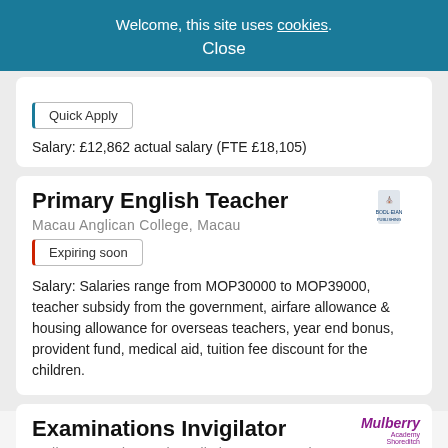Welcome, this site uses cookies. Close
Salary: £12,862 actual salary (FTE £18,105)
Primary English Teacher
Macau Anglican College, Macau
Expiring soon
Salary: Salaries range from MOP30000 to MOP39000, teacher subsidy from the government, airfare allowance & housing allowance for overseas teachers, year end bonus, provident fund, medical aid, tuition fee discount for the children.
Examinations Invigilator
Mulberry Academy Shoreditch, Tower Hamlets